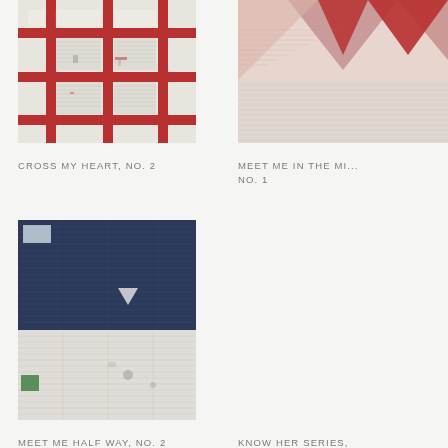[Figure (photo): Close-up photo of a quilt with red cross/grid pattern on white fabric, worn and aged texture, stitching visible]
CROSS MY HEART, NO. 2
[Figure (photo): Close-up photo of a quilt with pink/rose triangular star pattern on white fabric, visible quilting stitches]
MEET ME IN THE MI... NO. 1
[Figure (photo): Close-up photo of a quilt with navy blue upper half and white/cream lower half, visible stitching and small patches of color]
MEET ME HALF WAY, NO. 2
[Figure (photo): Empty/blank area representing a quilt image not visible in this crop]
KNOW HER SERIES, PLATES